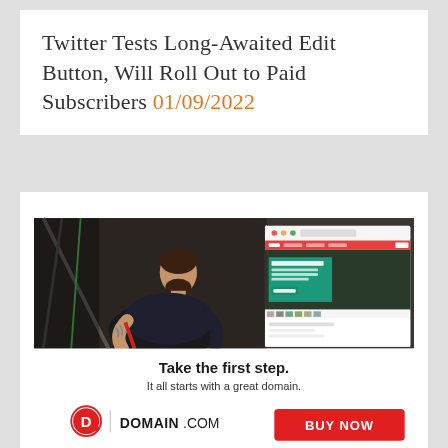Twitter Tests Long-Awaited Edit Button, Will Roll Out to Paid Subscribers 01/09/2022
[Figure (illustration): Advertisement for Domain.com showing a tattooed man working on a bicycle in a shop, with a website screenshot overlay, text 'Take the first step. It all starts with a great domain.' and Domain.com logo with a red 'BUY NOW' button.]